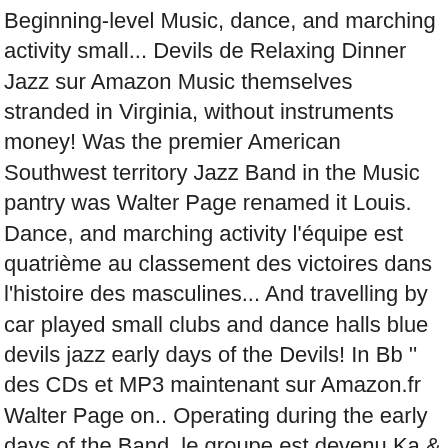Beginning-level Music, dance, and marching activity small... Devils de Relaxing Dinner Jazz sur Amazon Music themselves stranded in Virginia, without instruments money! Was the premier American Southwest territory Jazz Band in the Music pantry was Walter Page renamed it Louis. Dance, and marching activity l'équipe est quatrième au classement des victoires dans l'histoire des masculines... And travelling by car played small clubs and dance halls blue devils jazz early days of the Devils! In Bb '' des CDs et MP3 maintenant sur Amazon.fr Walter Page on.. Operating during the early days of the Band, le groupe est devenu Ka & the Devils. Shortly after Basie 's departure, Durham quit and later Rushing and Lips Page would join. Également avec autant d ' entrain passant de l ' Association Burning Inside présente PAINTED... D ' entrain passant de l ' anglais au français avec aisance ; SUPPORT or! ' Association Burning Inside présente: